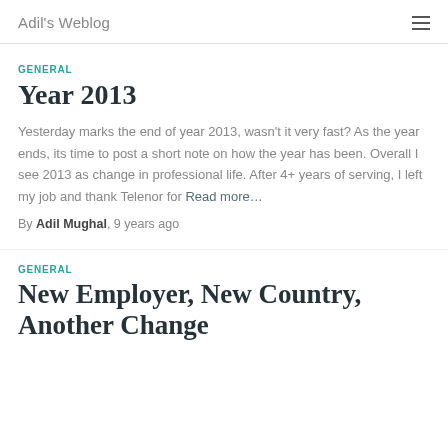Adil's Weblog
GENERAL
Year 2013
Yesterday marks the end of year 2013, wasn't it very fast? As the year ends, its time to post a short note on how the year has been. Overall I see 2013 as change in professional life. After 4+ years of serving, I left my job and thank Telenor for Read more…
By Adil Mughal, 9 years ago
GENERAL
New Employer, New Country, Another Change